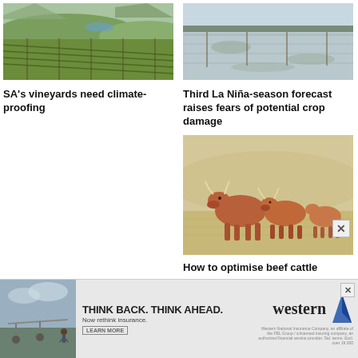[Figure (photo): Vineyard rows on hillside landscape, South Africa]
[Figure (photo): Flooded agricultural field with water covering the ground]
SA's vineyards need climate-proofing
Third La Niña-season forecast raises fears of potential crop damage
[Figure (photo): Several brown/red cattle standing in dry grass field]
How to optimise beef cattle
[Figure (photo): Advertisement: irrigation equipment in field - Western insurance ad]
THINK BACK. THINK AHEAD. Now rethink insurance. LEARN MORE western